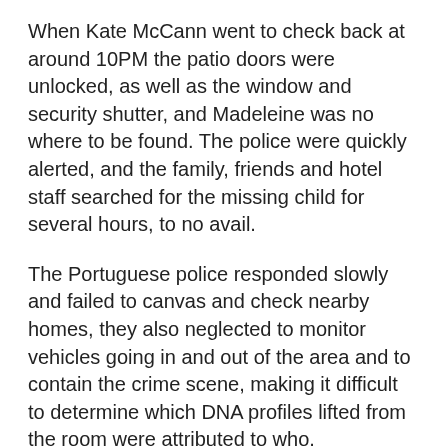When Kate McCann went to check back at around 10PM the patio doors were unlocked, as well as the window and security shutter, and Madeleine was no where to be found. The police were quickly alerted, and the family, friends and hotel staff searched for the missing child for several hours, to no avail.
The Portuguese police responded slowly and failed to canvas and check nearby homes, they also neglected to monitor vehicles going in and out of the area and to contain the crime scene, making it difficult to determine which DNA profiles lifted from the room were attributed to who.
One of the McCann's friends, Jane Tanner, who was dining along with them that night said that just under an hour before they noticed Madeleine was missing, she saw a man carrying a child away. The local authorities were sceptical of the story as she claimed to have